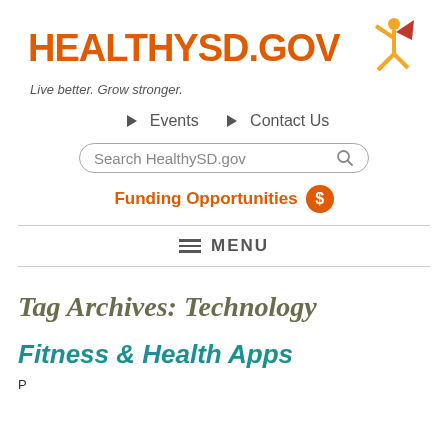[Figure (logo): HealthySD.gov logo with orange text and figure/star graphic. Tagline: Live better. Grow stronger.]
Events   Contact Us
[Figure (screenshot): Search box with placeholder text 'Search HealthySD.gov' and magnifying glass icon]
Funding Opportunities $
MENU
Tag Archives: Technology
Fitness & Health Apps
Page text snippet beginning below the Fitness & Health Apps header